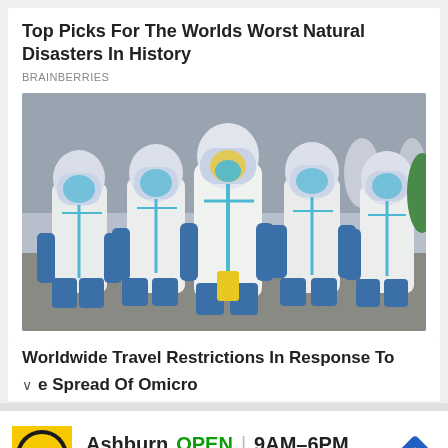Top Picks For The Worlds Worst Natural Disasters In History
BRAINBERRIES
[Figure (photo): Group of people in white hazmat suits with blue trim and blue gloves and masks walking through a crowded outdoor area]
Worldwide Travel Restrictions In Response To e Spread Of Omicro
[Figure (logo): HC logo on yellow background square]
Ashburn  OPEN | 9AM–6PM  44110 Ashburn Shopping Plaza 1.
[Figure (other): Blue diamond navigation/directions icon]